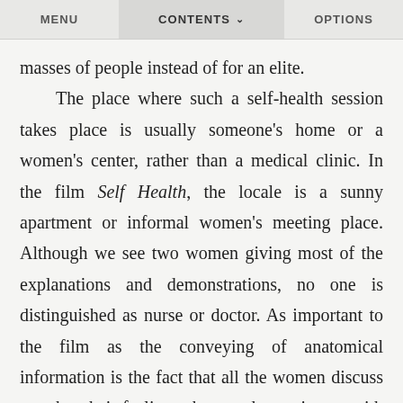MENU   CONTENTS ∨   OPTIONS
masses of people instead of for an elite.

The place where such a self-health session takes place is usually someone's home or a women's center, rather than a medical clinic. In the film Self Health, the locale is a sunny apartment or informal women's meeting place. Although we see two women giving most of the explanations and demonstrations, no one is distinguished as nurse or doctor. As important to the film as the conveying of anatomical information is the fact that all the women discuss together their feelings about and experiences with their bodies and their sexuality, and that they very naturally look at and feel each others' bodies. To gain knowledge by looking at and